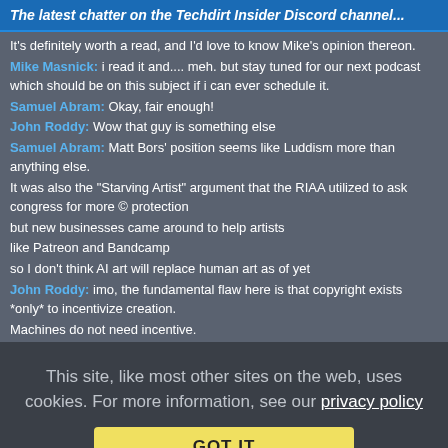The latest chatter on the Techdirt Insider Discord channel...
It's definitely worth a read, and I'd love to know Mike's opinion thereon.
Mike Masnick: i read it and.... meh. but stay tuned for our next podcast which should be on this subject if i can ever schedule it.
Samuel Abram: Okay, fair enough!
John Roddy: Wow that guy is something else
Samuel Abram: Matt Bors' position seems like Luddism more than anything else.
It was also the "Starving Artist" argument that the RIAA utilized to ask congress for more © protection
but new businesses came around to help artists
like Patreon and Bandcamp
so I don't think AI art will replace human art as of yet
John Roddy: imo, the fundamental flaw here is that copyright exists *only* to incentivize creation.
Machines do not need incentive.
Therefore, copyright is completely useless for anything they output.
This site, like most other sites on the web, uses cookies. For more information, see our privacy policy
GOT IT